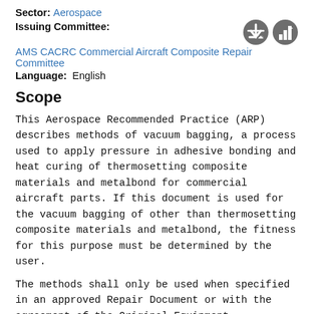Sector: Aerospace
Issuing Committee:
AMS CACRC Commercial Aircraft Composite Repair Committee
Language: English
Scope
This Aerospace Recommended Practice (ARP) describes methods of vacuum bagging, a process used to apply pressure in adhesive bonding and heat curing of thermosetting composite materials and metalbond for commercial aircraft parts. If this document is used for the vacuum bagging of other than thermosetting composite materials and metalbond, the fitness for this purpose must be determined by the user.
The methods shall only be used when specified in an approved Repair Document or with the agreement of the Original Equipment Manufacturer (OEM).
Rationale